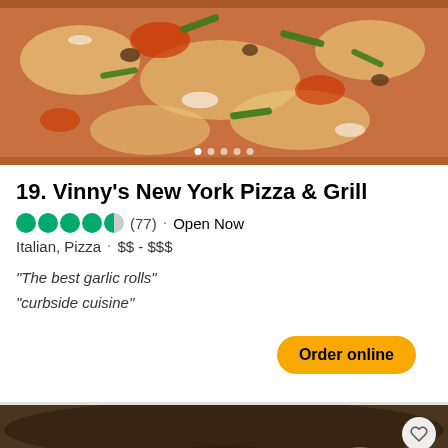[Figure (photo): Close-up photo of a pizza with toppings including green peppers, mushrooms, onions, and tomato sauce on melted cheese. White navigation dots at bottom indicating a carousel.]
19. Vinny's New York Pizza & Grill
4.5 stars (77) · Open Now
Italian, Pizza · $$ - $$$
"The best garlic rolls"
"curbside cuisine"
Order online
[Figure (photo): Close-up photo of a seafood dish featuring seared scallops and shrimp with vegetables and crumbled cheese on a dark plate. Heart/save icon in top right corner. White navigation dots at bottom indicating a carousel.]
20. Epicurean Cafe
4.5 stars (47) · Closed today